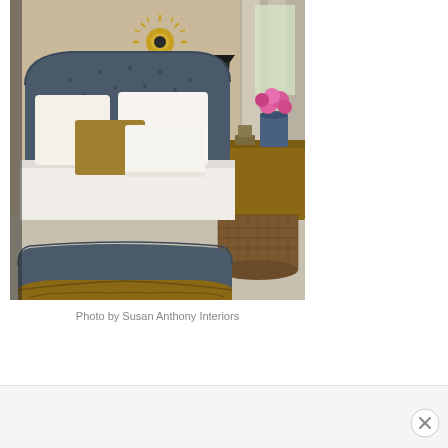[Figure (photo): Interior bedroom photo showing a French-style upholstered bed in dark grey/slate blue with ornate gold carved wood base, cream and gold decorative pillows, a sunburst mirror on patterned wallpaper, a lamp on a nightstand, pink flowers in a vase, a large wicker basket, and neutral carpeted floor.]
Photo by Susan Anthony Interiors